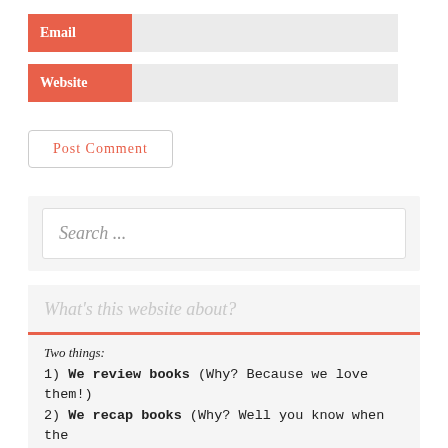Email [input field]
Website [input field]
Post Comment
Search ...
What's this website about?
Two things:
1) We review books (Why? Because we love them!)
2) We recap books (Why? Well you know when the next book in a series is about to come out and you